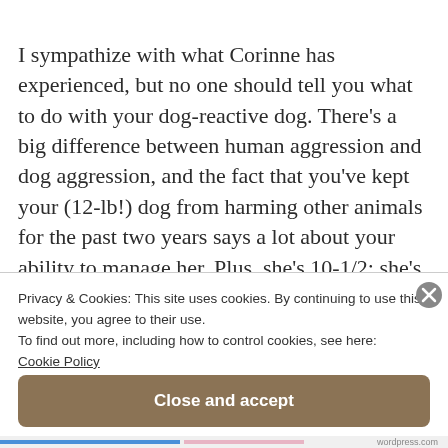I sympathize with what Corinne has experienced, but no one should tell you what to do with your dog-reactive dog. There's a big difference between human aggression and dog aggression, and the fact that you've kept your (12-lb!) dog from harming other animals for the past two years says a lot about your ability to manage her. Plus, she's 10-1/2; she's going to start mellowing out. (And it's bullshit that medication makes dogs into zombies
Privacy & Cookies: This site uses cookies. By continuing to use this website, you agree to their use.
To find out more, including how to control cookies, see here:
Cookie Policy
Close and accept